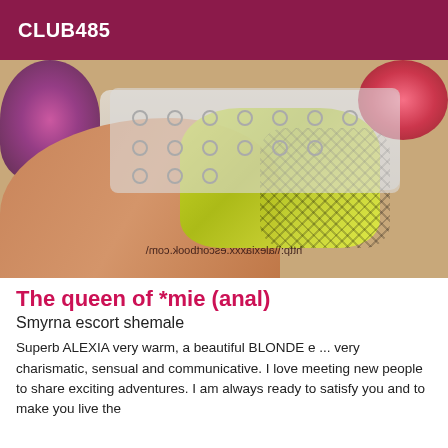CLUB485
[Figure (photo): Person lying face down on a bed wearing a yellow crochet/net swimsuit, with floral decorations visible in the background. A mirrored URL watermark is overlaid at the bottom.]
The queen of *mie (anal)
Smyrna escort shemale
Superb ALEXIA very warm, a beautiful BLONDE e ... very charismatic, sensual and communicative. I love meeting new people to share exciting adventures. I am always ready to satisfy you and to make you live the